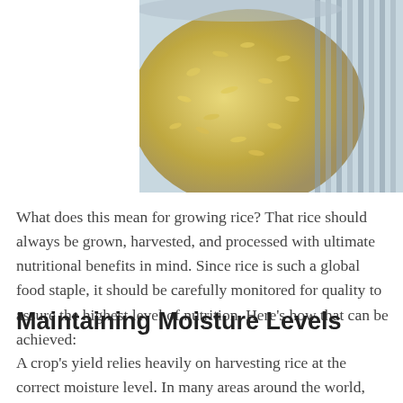[Figure (photo): Close-up photo of rice grains in a bowl or container, with striped background visible on the right side]
What does this mean for growing rice? That rice should always be grown, harvested, and processed with ultimate nutritional benefits in mind. Since rice is such a global food staple, it should be carefully monitored for quality to assure the highest level of nutrition. Here’s how that can be achieved:
Maintaining Moisture Levels
A crop’s yield relies heavily on harvesting rice at the correct moisture level. In many areas around the world, rice is harvested when the grain’s moisture level is around 25%. This is key